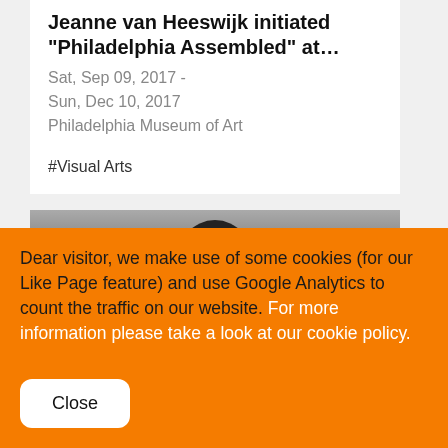Jeanne van Heeswijk initiated “Philadelphia Assembled” at…
Sat, Sep 09, 2017 -
Sun, Dec 10, 2017
Philadelphia Museum of Art
#Visual Arts
[Figure (photo): Black and white photo showing a dark silhouette of a person’s head, partially visible, with a play button overlay circle on the left side.]
Dear visitor, we make use of some cookies (for our Like Page feature) and use Google Analytics to count the traffic on our website. For more information please take a look at our cookie policy.
Close